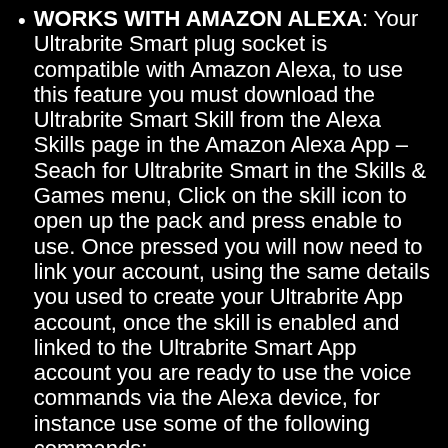WORKS WITH AMAZON ALEXA: Your Ultrabrite Smart plug socket is compatible with Amazon Alexa, to use this feature you must download the Ultrabrite Smart Skill from the Alexa Skills page in the Amazon Alexa App – Seach for Ultrabrite Smart in the Skills & Games menu, Click on the skill icon to open up the pack and press enable to use. Once pressed you will now need to link your account, using the same details you used to create your Ultrabrite App account, once the skill is enabled and linked to the Ultrabrite Smart App account you are ready to use the voice commands via the Alexa device, for instance use some of the following commands:
Alexa.... Turn on the lamp!